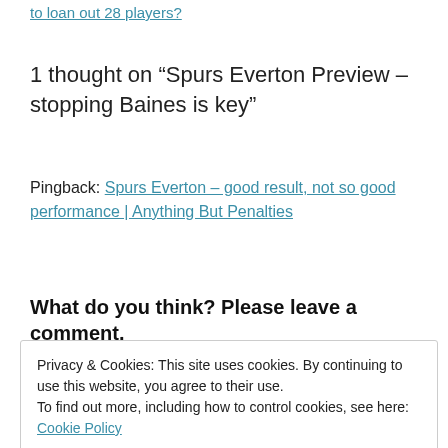to loan out 28 players?
1 thought on “Spurs Everton Preview – stopping Baines is key”
Pingback: Spurs Everton – good result, not so good performance | Anything But Penalties
What do you think? Please leave a comment.
Privacy & Cookies: This site uses cookies. By continuing to use this website, you agree to their use.
To find out more, including how to control cookies, see here: Cookie Policy